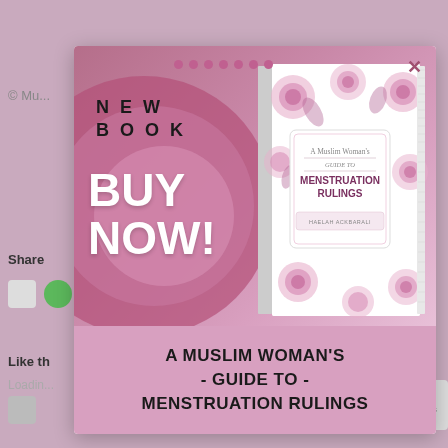[Figure (screenshot): Website screenshot showing a popup/modal advertisement for a book called 'A Muslim Woman's Guide to Menstruation Rulings'. The modal contains a pink/mauve background with large decorative circles, text reading 'NEW BOOK BUY NOW!' on the left side, and a book cover image on the right. The bottom of the modal shows the full book title in bold black text on a pink background.]
A MUSLIM WOMAN'S - GUIDE TO - MENSTRUATION RULINGS